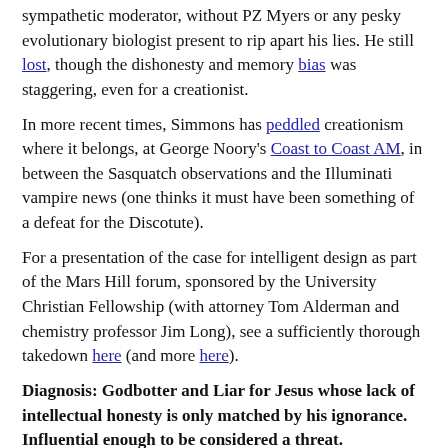sympathetic moderator, without PZ Myers or any pesky evolutionary biologist present to rip apart his lies. He still lost, though the dishonesty and memory bias was staggering, even for a creationist.
In more recent times, Simmons has peddled creationism where it belongs, at George Noory's Coast to Coast AM, in between the Sasquatch observations and the Illuminati vampire news (one thinks it must have been something of a defeat for the Discotute).
For a presentation of the case for intelligent design as part of the Mars Hill forum, sponsored by the University Christian Fellowship (with attorney Tom Alderman and chemistry professor Jim Long), see a sufficiently thorough takedown here (and more here).
Diagnosis: Godbotter and Liar for Jesus whose lack of intellectual honesty is only matched by his ignorance. Influential enough to be considered a threat.
chaospet at 12:09 PM   No comments: